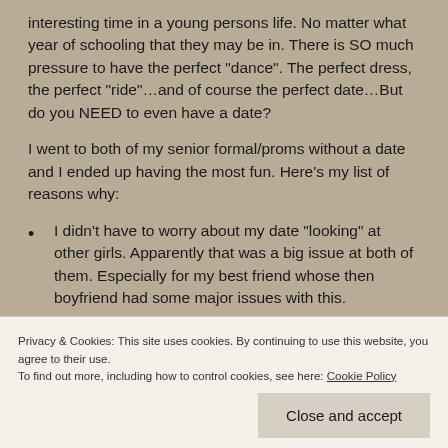interesting time in a young persons life. No matter what year of schooling that they may be in. There is SO much pressure to have the perfect “dance”. The perfect dress, the perfect “ride”…and of course the perfect date…But do you NEED to even have a date?
I went to both of my senior formal/proms without a date and I ended up having the most fun. Here’s my list of reasons why:
I didn’t have to worry about my date “looking” at other girls. Apparently that was a big issue at both of them. Especially for my best friend whose then boyfriend had some major issues with this.
Without having someone else sulk.
Privacy & Cookies: This site uses cookies. By continuing to use this website, you agree to their use. To find out more, including how to control cookies, see here: Cookie Policy
Close and accept